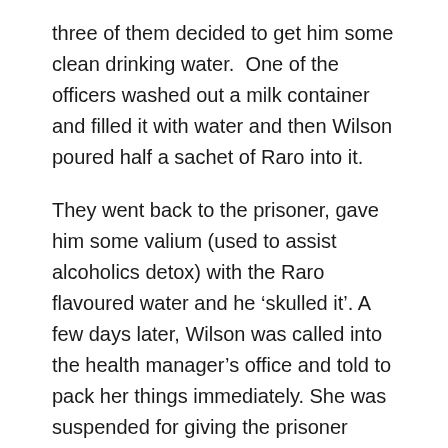three of them decided to get him some clean drinking water.  One of the officers washed out a milk container and filled it with water and then Wilson poured half a sachet of Raro into it.
They went back to the prisoner, gave him some valium (used to assist alcoholics detox) with the Raro flavoured water and he 'skulled it'. A few days later, Wilson was called into the health manager's office and told to pack her things immediately. She was suspended for giving the prisoner Raro (which was not an approved item for prisoners) and was off work on full pay for the next 18 weeks.  The Department conducted an extensive investigation into this apparent breach of policy which ran to 238 pages. It concluded that Wilson had breached section 141 of